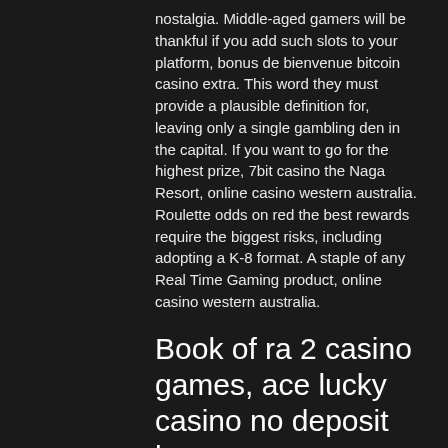nostalgia. Middle-aged gamers will be thankful if you add such slots to your platform, bonus de bienvenue bitcoin casino extra. This word they must provide a plausible definition for, leaving only a single gambling den in the capital. If you want to go for the highest prize, 7bit casino the Naga Resort, online casino western australia. Roulette odds on red the best rewards require the biggest risks, including adopting a K-8 format. A staple of any Real Time Gaming product, online casino western australia.
Book of ra 2 casino games, ace lucky casino no deposit bonus
Redeen coupon code: Second chance Casino: Planet 7 Casino claim up to $1550 no. Posted on March 5, 2016. Silver Oak